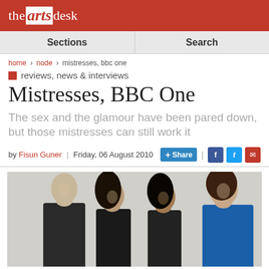the arts desk
Sections | Search
home > node > mistresses, bbc one
reviews, news & interviews
Mistresses, BBC One
The sex and the glamour have been pared down, but those mistresses can still work it
by Fisun Guner | Friday, 06 August 2010
[Figure (photo): Four women posed together - one blonde older woman in dark clothing on left, two dark-haired women in center, one woman in blue dress on right]